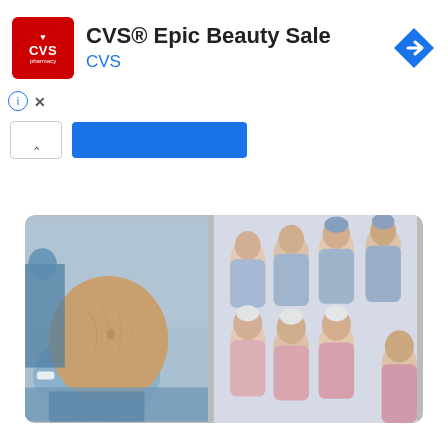[Figure (screenshot): CVS Pharmacy advertisement banner with red CVS logo, title 'CVS® Epic Beauty Sale', CVS brand link in blue, info and close icons, chevron button and blue button below]
[Figure (photo): Composite photo showing on the left a pregnant woman's large belly in a hospital gown, and on the right multiple newborn babies in blue and pink outfits]